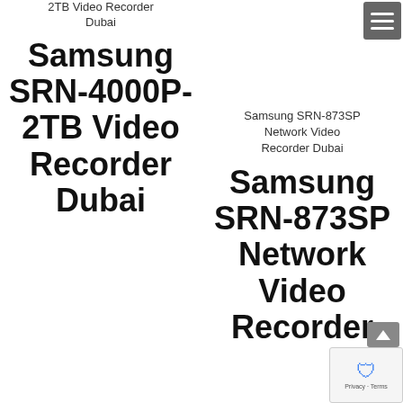2TB Video Recorder Dubai
Samsung SRN-4000P-2TB Video Recorder Dubai
Samsung SRN-873SP Network Video Recorder Dubai
Samsung SRN-873SP Network Video Recorder